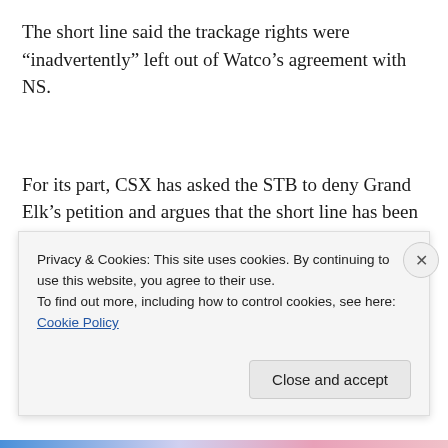The short line said the trackage rights were “inadvertently” left out of Watco’s agreement with NS.
For its part, CSX has asked the STB to deny Grand Elk’s petition and argues that the short line has been operating illegally on the track in dispute.
Grand Elk, which began operating the former Conrail line
Privacy & Cookies: This site uses cookies. By continuing to use this website, you agree to their use.
To find out more, including how to control cookies, see here: Cookie Policy
Close and accept